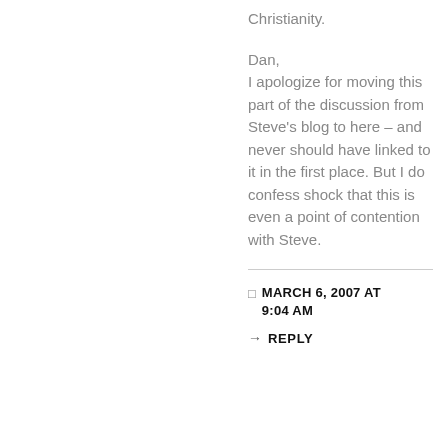Christianity.
Dan,
I apologize for moving this part of the discussion from Steve's blog to here – and never should have linked to it in the first place. But I do confess shock that this is even a point of contention with Steve.
MARCH 6, 2007 AT 9:04 AM
REPLY